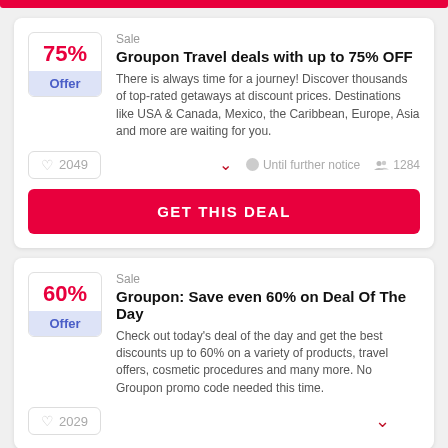[Figure (screenshot): Top red bar decoration]
Sale
Groupon Travel deals with up to 75% OFF
There is always time for a journey! Discover thousands of top-rated getaways at discount prices. Destinations like USA & Canada, Mexico, the Caribbean, Europe, Asia and more are waiting for you.
2049
Until further notice   1284
GET THIS DEAL
Sale
Groupon: Save even 60% on Deal Of The Day
Check out today's deal of the day and get the best discounts up to 60% on a variety of products, travel offers, cosmetic procedures and many more. No Groupon promo code needed this time.